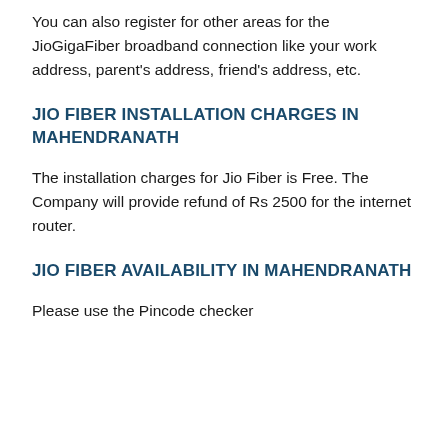You can also register for other areas for the JioGigaFiber broadband connection like your work address, parent's address, friend's address, etc.
JIO FIBER INSTALLATION CHARGES IN MAHENDRANATH
The installation charges for Jio Fiber is Free. The Company will provide refund of Rs 2500 for the internet router.
JIO FIBER AVAILABILITY IN MAHENDRANATH
Please use the Pincode checker